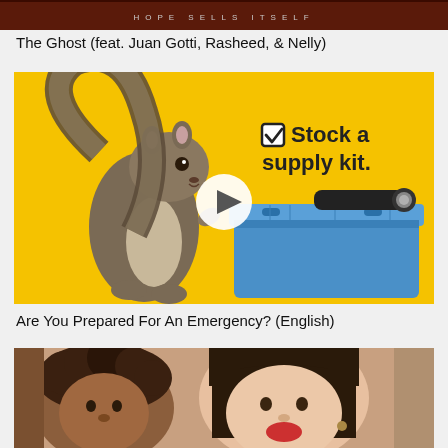[Figure (photo): Dark brown/maroon album cover strip with text 'HOPE SELLS ITSELF' in spaced letters]
The Ghost (feat. Juan Gotti, Rasheed, & Nelly)
[Figure (screenshot): Video thumbnail with yellow background showing a squirrel on the left, a blue supply kit bin with a flashlight on the right, text reading 'Stock a supply kit.' with a checkbox, and a white circular play button in the center.]
Are You Prepared For An Emergency? (English)
[Figure (photo): Close-up photo of two children, one with curly hair and one with straight dark hair with bangs, the latter appears to be eating or holding something red.]